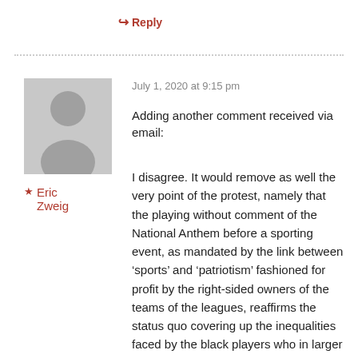↪ Reply
July 1, 2020 at 9:15 pm
[Figure (illustration): Generic grey avatar placeholder image showing a silhouette of a person (head and shoulders)]
★ Eric Zweig
Adding another comment received via email:
I disagree. It would remove as well the very point of the protest, namely that the playing without comment of the National Anthem before a sporting event, as mandated by the link between 'sports' and 'patriotism' fashioned for profit by the right-sided owners of the teams of the leagues, reaffirms the status quo covering up the inequalities faced by the black players who in larger part make the games profitable for the owners – as Trump and the right-sided know only too well.